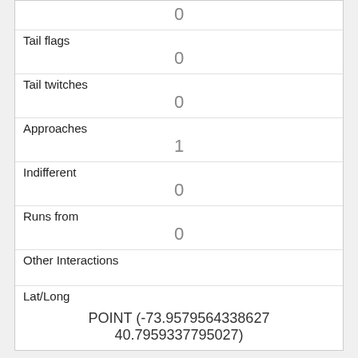| 0 |
| Tail flags | 0 |
| Tail twitches | 0 |
| Approaches | 1 |
| Indifferent | 0 |
| Runs from | 0 |
| Other Interactions |  |
| Lat/Long | POINT (-73.9579564338627 40.7959337795027) |
| Link | 43 |
| rowid | 43 |
| longitude |  |